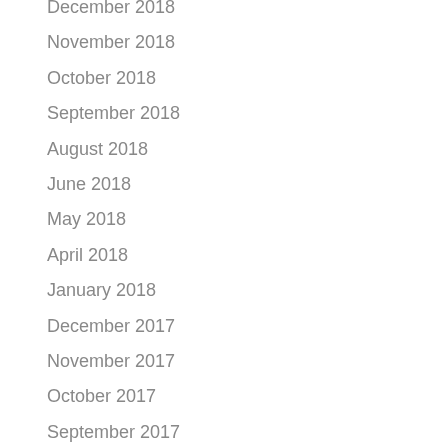December 2018
November 2018
October 2018
September 2018
August 2018
June 2018
May 2018
April 2018
January 2018
December 2017
November 2017
October 2017
September 2017
August 2017
July 2017